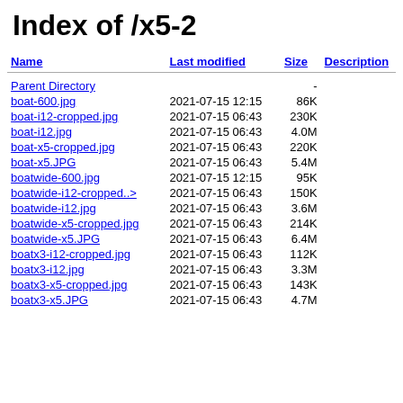Index of /x5-2
| Name | Last modified | Size | Description |
| --- | --- | --- | --- |
| Parent Directory |  | - |  |
| boat-600.jpg | 2021-07-15 12:15 | 86K |  |
| boat-i12-cropped.jpg | 2021-07-15 06:43 | 230K |  |
| boat-i12.jpg | 2021-07-15 06:43 | 4.0M |  |
| boat-x5-cropped.jpg | 2021-07-15 06:43 | 220K |  |
| boat-x5.JPG | 2021-07-15 06:43 | 5.4M |  |
| boatwide-600.jpg | 2021-07-15 12:15 | 95K |  |
| boatwide-i12-cropped..> | 2021-07-15 06:43 | 150K |  |
| boatwide-i12.jpg | 2021-07-15 06:43 | 3.6M |  |
| boatwide-x5-cropped.jpg | 2021-07-15 06:43 | 214K |  |
| boatwide-x5.JPG | 2021-07-15 06:43 | 6.4M |  |
| boatx3-i12-cropped.jpg | 2021-07-15 06:43 | 112K |  |
| boatx3-i12.jpg | 2021-07-15 06:43 | 3.3M |  |
| boatx3-x5-cropped.jpg | 2021-07-15 06:43 | 143K |  |
| boatx3-x5.JPG | 2021-07-15 06:43 | 4.7M |  |